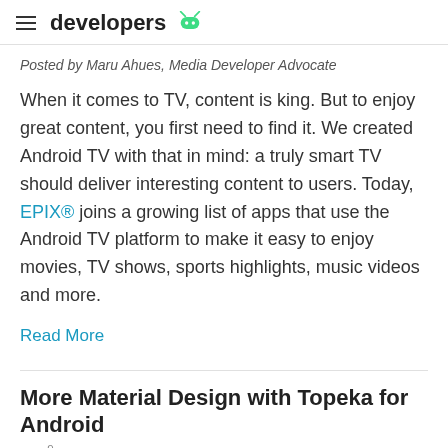≡ developers 🤖
Posted by Maru Ahues, Media Developer Advocate
When it comes to TV, content is king. But to enjoy great content, you first need to find it. We created Android TV with that in mind: a truly smart TV should deliver interesting content to users. Today, EPIX® joins a growing list of apps that use the Android TV platform to make it easy to enjoy movies, TV shows, sports highlights, music videos and more.
Read More
More Material Design with Topeka for Android
16 69 2015